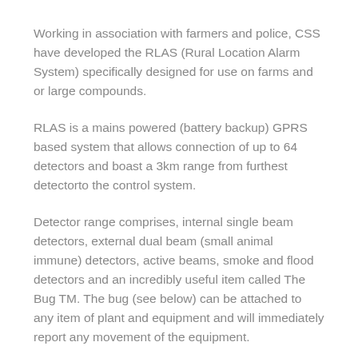Working in association with farmers and police, CSS have developed the RLAS (Rural Location Alarm System) specifically designed for use on farms and or large compounds.
RLAS is a mains powered (battery backup) GPRS based system that allows connection of up to 64 detectors and boast a 3km range from furthest detectorto the control system.
Detector range comprises, internal single beam detectors, external dual beam (small animal immune) detectors, active beams, smoke and flood detectors and an incredibly useful item called The Bug TM. The bug (see below) can be attached to any item of plant and equipment and will immediately report any movement of the equipment.
The RLAS is a GPRS based system. This means that